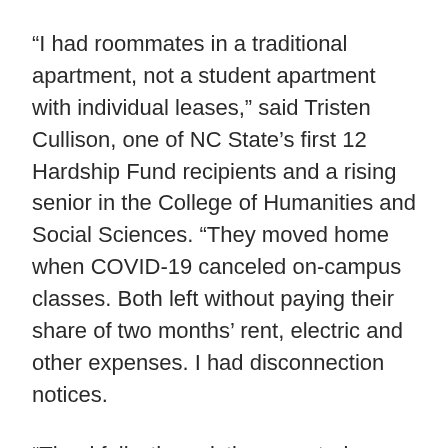“I had roommates in a traditional apartment, not a student apartment with individual leases,” said Tristen Cullison, one of NC State’s first 12 Hardship Fund recipients and a rising senior in the College of Humanities and Social Sciences. “They moved home when COVID-19 canceled on-campus classes. Both left without paying their share of two months’ rent, electric and other expenses. I had disconnection notices.
“Thankfully, the eviction moratorium prevented my eviction, but I only had an extra 30 days to catch up on back rent,” Cullison added. “Money from the Hardship Fund kept food in the fridge, my water and power on and me from being homeless.”